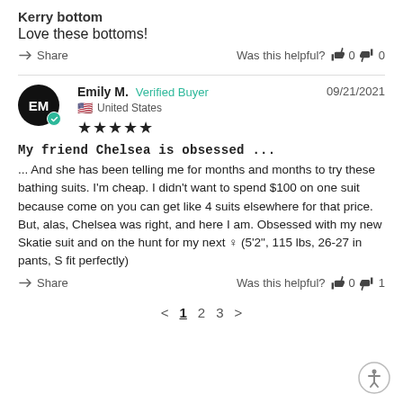Kerry bottom
Love these bottoms!
Share   Was this helpful?  👍 0  👎 0
Emily M.  Verified Buyer   09/21/2021  United States  ★★★★★
My friend Chelsea is obsessed ...
... And she has been telling me for months and months to try these bathing suits. I'm cheap. I didn't want to spend $100 on one suit because come on you can get like 4 suits elsewhere for that price. But, alas, Chelsea was right, and here I am. Obsessed with my new Skatie suit and on the hunt for my next ♀ (5'2", 115 lbs, 26-27 in pants, S fit perfectly)
Share   Was this helpful?  👍 0  👎 1
< 1 2 3 >